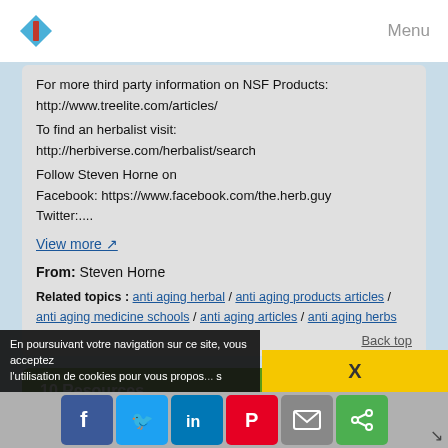Menu
For more third party information on NSF Products:
http://www.treelite.com/articles/
To find an herbalist visit:
http://herbiverse.com/herbalist/search
Follow Steven Horne on
Facebook: https://www.facebook.com/the.herb.guy
Twitter:....
View more
From: Steven Horne
Related topics : anti aging herbal / anti aging products articles / anti aging medicine schools / anti aging articles / anti aging herbs
Back top
10 Resources
En poursuivant votre navigation sur ce site, vous acceptez l'utilisation de cookies pour vous propos... s